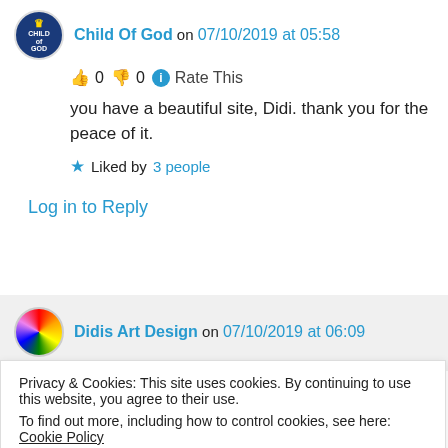Child Of God on 07/10/2019 at 05:58
👍 0 👎 0 ℹ Rate This
you have a beautiful site, Didi. thank you for the peace of it.
★ Liked by 3 people
Log in to Reply
Didis Art Design on 07/10/2019 at 06:09
Privacy & Cookies: This site uses cookies. By continuing to use this website, you agree to their use.
To find out more, including how to control cookies, see here: Cookie Policy
Close and accept
★ Liked by 1 person